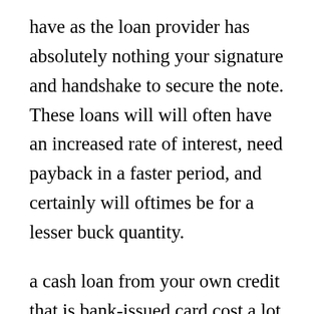have as the loan provider has absolutely nothing your signature and handshake to secure the note. These loans will will often have an increased rate of interest, need payback in a faster period, and certainly will oftimes be for a lesser buck quantity.
a cash loan from your own credit that is bank-issued card cost a lot more than the quantity you borrowed. These payday loans will charge interest, and it's really typically significantly more than that which you're